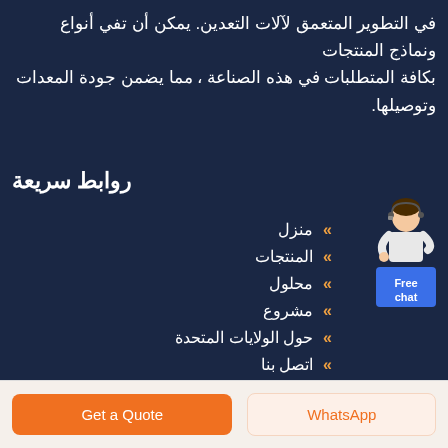في التطوير المتعمق لآلات التعدين. يمكن أن تفي أنواع ونماذج المنتجات بكافة المتطلبات في هذه الصناعة ، مما يضمن جودة المعدات وتوصيلها.
روابط سريعة
منزل
المنتجات
محلول
مشروع
حول الولايات المتحدة
اتصل بنا
[Figure (illustration): Customer support person standing behind a podium with a headset, above a blue 'Free chat' button widget]
Get a Quote
WhatsApp